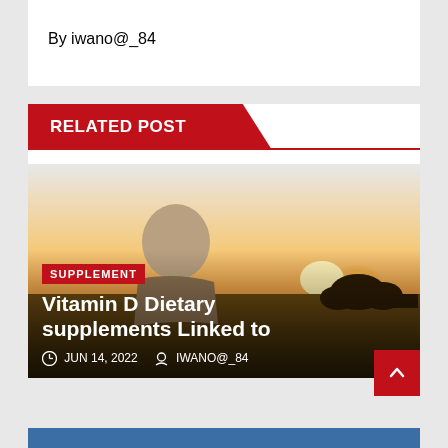By iwano@_84
RELATED POST
[Figure (photo): Older person with curly grey hair sitting outdoors at sunset/golden hour, looking to the side. Background shows warm orange and yellow sky with silhouetted trees.]
SUPPLEMENT
Vitamin D Dietary supplements Linked to
JUN 14, 2022   IWANO@_84